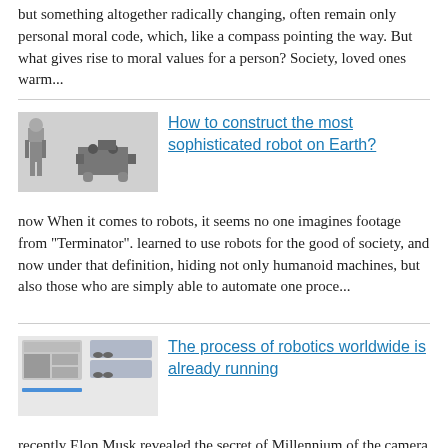but something altogether radically changing, often remain only personal moral code, which, like a compass pointing the way. But what gives rise to moral values for a person? Society, loved ones warm...
[Figure (illustration): Two robot figures, one humanoid and one mechanical vehicle-like robot]
How to construct the most sophisticated robot on Earth?
now When it comes to robots, it seems no one imagines footage from "Terminator". learned to use robots for the good of society, and now under that definition, hiding not only humanoid machines, but also those who are simply able to automate one proce...
[Figure (screenshot): Screenshot of article about robotics with images of cars]
The process of robotics worldwide is already running
recently Elon Musk revealed the secret of Millennium of the camera above the rear view mirror of the car Tesla Model 3. Although the main purpose of any camera is to shoot what is happening around, found out some details. So, the camera will follow t...
Comments (0)
This article has no comment, be the first!